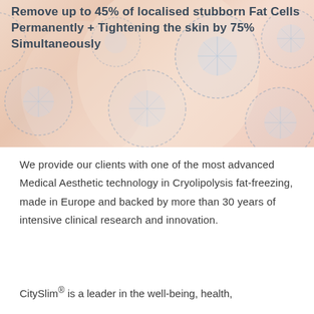[Figure (photo): Close-up photo of a person's skin/body area with blue dashed circular patterns overlaid, representing cryolipolysis treatment applicator placement.]
Remove up to 45% of localised stubborn Fat Cells Permanently + Tightening the skin by 75% Simultaneously
We provide our clients with one of the most advanced Medical Aesthetic technology in Cryolipolysis fat-freezing, made in Europe and backed by more than 30 years of intensive clinical research and innovation.
CitySlim® is a leader in the well-being, health,